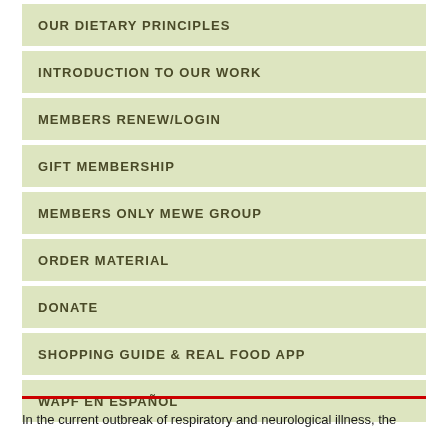OUR DIETARY PRINCIPLES
INTRODUCTION TO OUR WORK
MEMBERS RENEW/LOGIN
GIFT MEMBERSHIP
MEMBERS ONLY MEWE GROUP
ORDER MATERIAL
DONATE
SHOPPING GUIDE & REAL FOOD APP
WAPF EN ESPAÑOL
In the current outbreak of respiratory and neurological illness, the